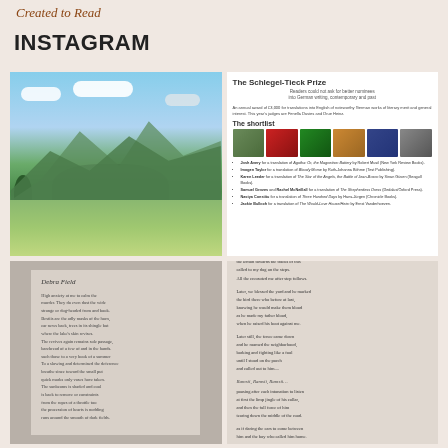Created to Read
INSTAGRAM
[Figure (photo): Landscape photograph of green fields and mountains under blue sky with clouds]
[Figure (screenshot): Screenshot of The Schlegel-Tieck Prize page showing shortlist with book cover images and list of nominees]
[Figure (photo): Photo of open book page showing poem by Debra Field]
[Figure (photo): Photo of open book showing poem stanzas including lines 'Ramsii, Ramsii, Ramsii...']